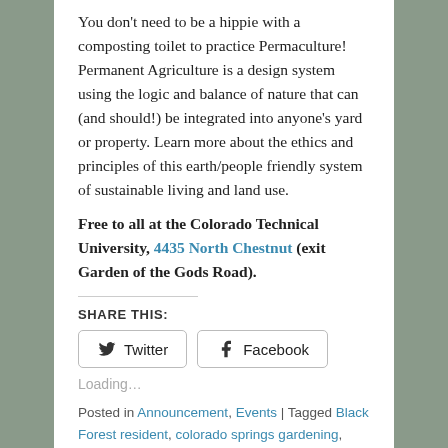You don't need to be a hippie with a composting toilet to practice Permaculture! Permanent Agriculture is a design system using the logic and balance of nature that can (and should!) be integrated into anyone's yard or property. Learn more about the ethics and principles of this earth/people friendly system of sustainable living and land use.
Free to all at the Colorado Technical University, 4435 North Chestnut (exit Garden of the Gods Road).
SHARE THIS:
Loading…
Posted in Announcement, Events | Tagged Black Forest resident, colorado springs gardening, Colorado Technical University, East library, Feb 2014, garden class, garden design, garden lecture, HAS library lecture, HAS monthly lecture, horticultural art society, January 2014, Leslie Holzmann, library lecture, Master Gardener